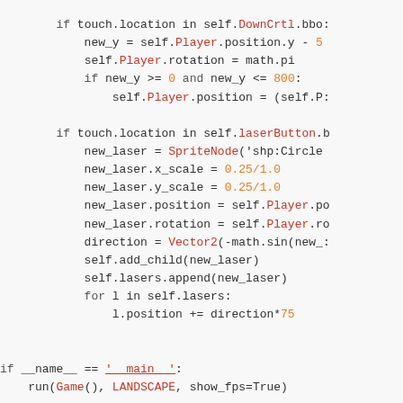Code snippet showing Python game code with touch controls, laser creation, and main entry point